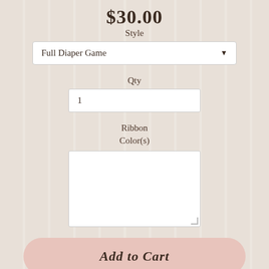$30.00
Style
Full Diaper Game
Qty
1
Ribbon Color(s)
Add to Cart